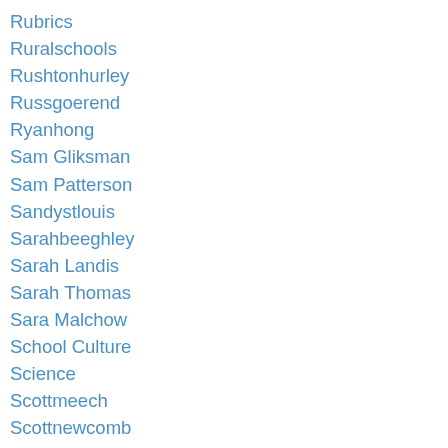Rubrics
Ruralschools
Rushtonhurley
Russgoerend
Ryanhong
Sam Gliksman
Sam Patterson
Sandystlouis
Sarahbeeghley
Sarah Landis
Sarah Thomas
Sara Malchow
School Culture
Science
Scottmeech
Scottnewcomb
Scottsnyder
Scratch
Screencasting
Sean Fahey